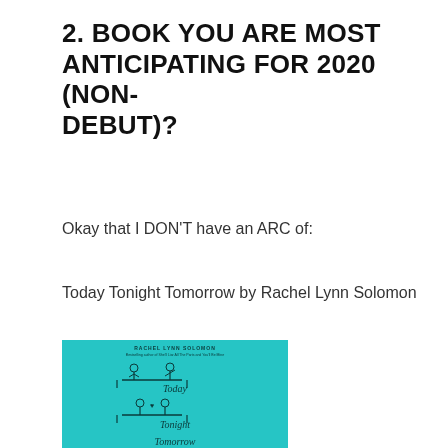2. BOOK YOU ARE MOST ANTICIPATING FOR 2020 (NON-DEBUT)?
Okay that I DON'T have an ARC of:
Today Tonight Tomorrow by Rachel Lynn Solomon
[Figure (illustration): Book cover of 'Today Tonight Tomorrow' by Rachel Lynn Solomon — cyan/teal background with line-art illustrations of two people on a bench in three scenes labeled Today, Tonight, Tomorrow. Author name at top.]